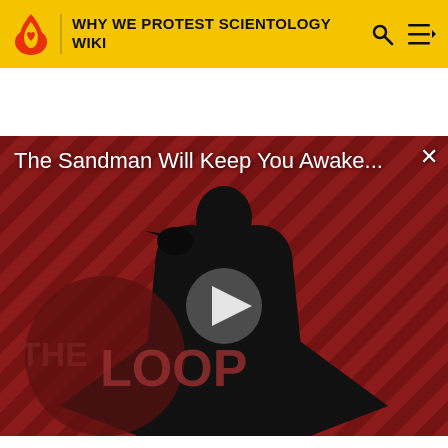WHY WE PROTEST SCIENTOLOGY WIKI
[Figure (screenshot): Video player showing 'The Sandman Will Keep You Awake...' with a dark-cloaked figure against a red diagonal striped background with THE LOOP branding and a play button overlay]
The Sandman Will Keep You Awake - The Loop  01:40
[Figure (screenshot): Thumbnail of a second video showing red and white graphic logo artwork]